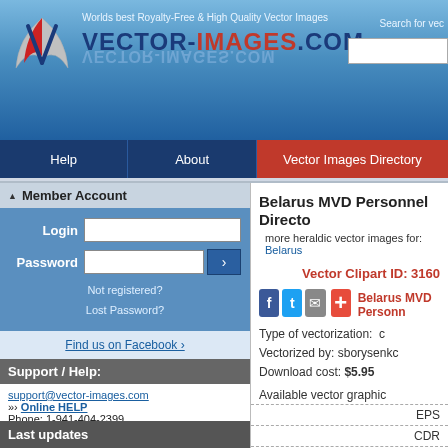[Figure (screenshot): vector-images.com website header with logo showing a stylized V with wings and the text VECTOR-IMAGES.COM on a blue gradient background, with tagline 'Worlds best Royalty-Free & High Quality Vector Images' and a search box]
Help | About | Vector Images Directory
Member Account
Login [input field] Password [input field] [button >] Not registered? Lost Password?
Find us on Facebook ›
Support / Help:
support@vector-images.com
»» Online HELP
Phone: 1-941-404-2399
(7:00 am - 3:00 pm EST)
Toll Free Fax: 1-866-595-7259
Last updates
Belarus MVD Personnel Directo
more heraldic vector images for: Belarus
Vector Clipart ID: 3160
Belarus MVD Personn
Type of vectorization: c
Vectorized by: sborysenkc
Download cost: $5.95
Available vector graphic
| Format |
| --- |
| EPS |
| CDR |
| JPEG/J |